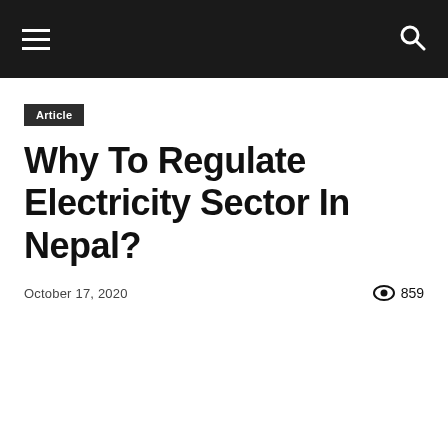Navigation bar with hamburger menu and search icon
Article
Why To Regulate Electricity Sector In Nepal?
October 17, 2020   859